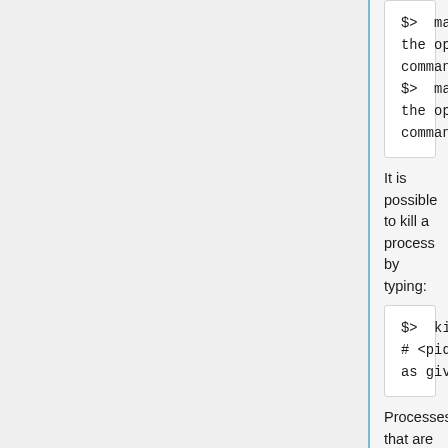$>  man ps   #shows all the option for the ps command
$>  man ls   #shows all the option for the ls command
It is possible to kill a process by typing:
$>  kill [-9] <pid>
# <pid> is the process id as given by ps
Processes that are launched interactively can be stopped by typing
$>  ctrl+z
and can be sent in background or foreground by using bg and fg